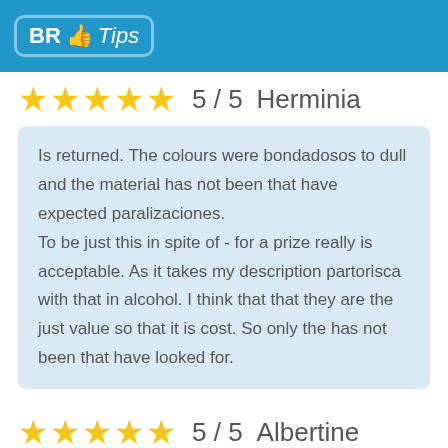BR Tips
★★★★★  5 / 5   Herminia
Is returned. The colours were bondadosos to dull and the material has not been that have expected paralizaciones.
To be just this in spite of - for a prize really is acceptable. As it takes my description partorisca with that in alcohol. I think that that they are the just value so that it is cost. So only the has not been that have looked for.
★★★★★  5 / 5   Albertine